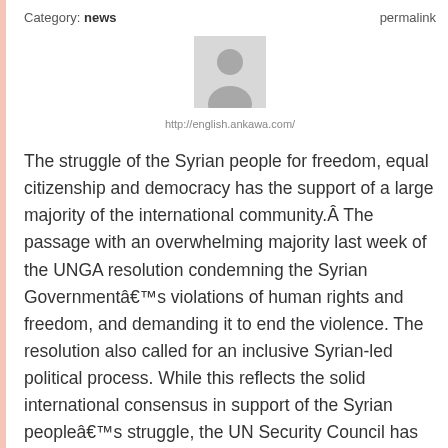Category: news   permalink
[Figure (illustration): Generic user avatar placeholder image — grey silhouette of a person on a light grey background]
http://english.ankawa.com/
The struggle of the Syrian people for freedom, equal citizenship and democracy has the support of a large majority of the international community.Â The passage with an overwhelming majority last week of the UNGA resolution condemning the Syrian Governmentâs violations of human rights and freedom, and demanding it to end the violence. The resolution also called for an inclusive Syrian-led political process. While this reflects the solid international consensus in support of the Syrian peopleâs struggle, the UN Security Council has failed so far to translate this consensus into a common will to act. The Friends of Syria meeting takes place in the aftermath of the UN votes and the Syrian people put high hopes on this coalition.